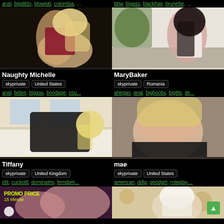anal, bigdildo, blowjob, colombia, ...
bbw, bigass, blackhair, brunette, ...
[Figure (photo): Blonde woman in red lingerie posing with dark background]
Naughty Michelle
skyprivate  United States
anal, bdsm, bigass, bondage, cou...
[Figure (photo): Dark-haired woman in white outfit posing in bright room with plants]
MaryBaker
skyprivate  Romania
ahegao, anal, bigboobs, bigtits, de...
[Figure (photo): Blonde woman in black latex outfit lying on bed]
Tiffany
skyprivate  United Kingdom
cbt, cuckold, dominatrix, femdom...
[Figure (photo): Blonde woman in black lingerie lying down, close-up]
mae
skyprivate  United States
american, ddlg, goodgirl, roleplay,...
[Figure (photo): Promo price card showing woman, text PROMO PRICE 15 Minute]
[Figure (photo): Woman in white headscarf, decorative background]